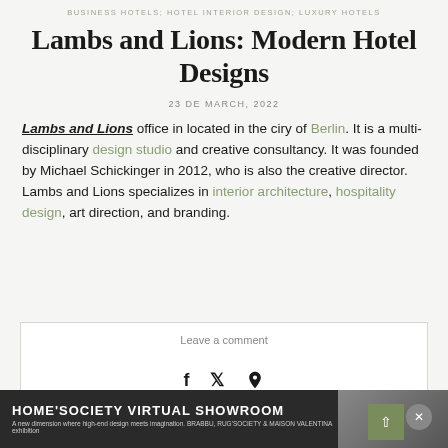BUSINESS HOTELS; HOTEL INTERIOR DESIGN; LUXURY HOTELS
Lambs and Lions: Modern Hotel Designs
23 DE MARCH, 2022
Lambs and Lions office in located in the ciry of Berlin. It is a multi-disciplinary design studio and creative consultancy. It was founded by Michael Schickinger in 2012, who is also the creative director. Lambs and Lions specializes in interior architecture, hospitality design, art direction, and branding.
Leave a comment
[Figure (other): Social sharing icons: Facebook, Twitter, Pinterest]
[Figure (infographic): HOME'SOCIETY VIRTUAL SHOWROOM banner advertisement with tagline: A new dimension where high-end design meets imagination. BRABBU, RUG'SOCIETY & MAISON VALENTINA exhibition]